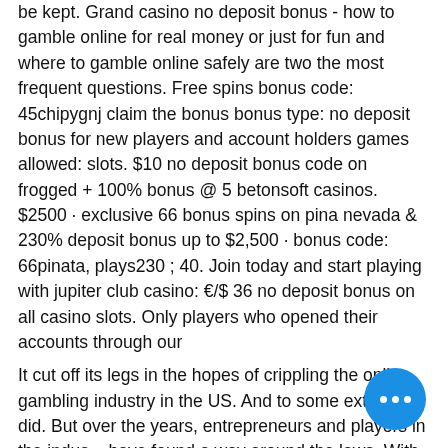be kept. Grand casino no deposit bonus - how to gamble online for real money or just for fun and where to gamble online safely are two the most frequent questions. Free spins bonus code: 45chipygnj claim the bonus bonus type: no deposit bonus for new players and account holders games allowed: slots. $10 no deposit bonus code on frogged + 100% bonus @ 5 betonsoft casinos. $2500 · exclusive 66 bonus spins on pina nevada &amp; 230% deposit bonus up to $2,500 · bonus code: 66pinata, plays230 ; 40. Join today and start playing with jupiter club casino: €/$ 36 no deposit bonus on all casino slots. Only players who opened their accounts through our
It cut off its legs in the hopes of crippling the online gambling industry in the US. And to some extent, it did. But over the years, entrepreneurs and players in the indus... have found a way around the laws. With that